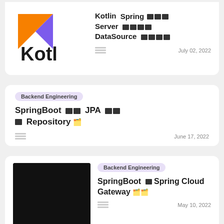[Figure (screenshot): Blog listing page showing three article cards with titles, tags, dates. Card 1 (partial): Kotlin logo + title about Kotlin Spring Server DataSource. Card 2: Backend Engineering tag, SpringBoot JPA Repository article. Card 3 (partial): Backend Engineering tag, SpringBoot Spring Cloud Gateway article.]
Kotlin Spring Server DataSource July 02, 2022
Backend Engineering
SpringBoot JPA Repository
June 17, 2022
Backend Engineering
SpringBoot Spring Cloud Gateway
May 10, 2022